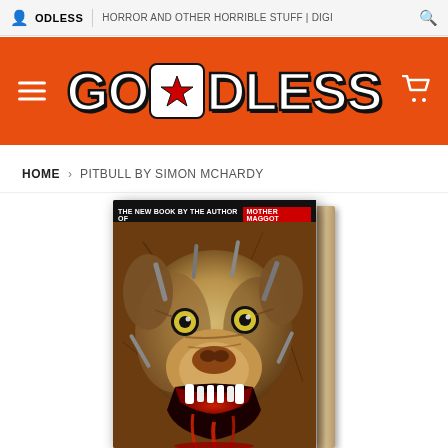ODLESS | HORROR AND OTHER HORRIBLE STUFF | DIGI...
[Figure (logo): GODLESS logo in white bold lettering with red star on orange background, with hamburger menu icon on left and cart icon on right]
HOME › PITBULL BY SIMON MCHARDY
[Figure (photo): Book cover of 'Pitbull' by Simon McHardy - shows a monstrous zombie-like pitbull dog face with glowing yellow eyes, blood dripping from open jaws, spikes, on a cracked brown background. Text at top reads 'THE NEW BOOK BY THE AUTHOR OF MOTHER MAGGOT']